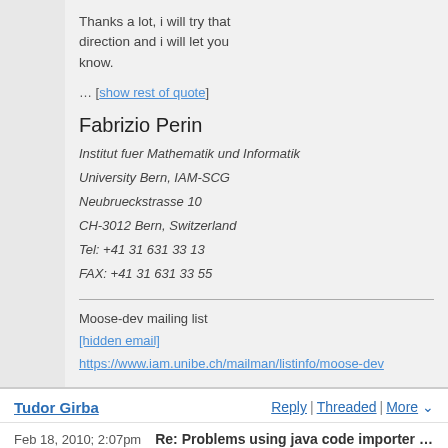Thanks a lot, i will try that direction and i will let you know.
… [show rest of quote]
Fabrizio Perin
Institut fuer Mathematik und Informatik
University Bern, IAM-SCG
Neubrueckstrasse 10
CH-3012 Bern, Switzerland
Tel: +41 31 631 33 13
FAX: +41 31 631 33 55
Moose-dev mailing list
[hidden email]
https://www.iam.unibe.ch/mailman/listinfo/moose-dev
Tudor Girba
Reply | Threaded | More
Feb 18, 2010; 2:07pm   Re: Problems using java code importer wit
Thanks :)